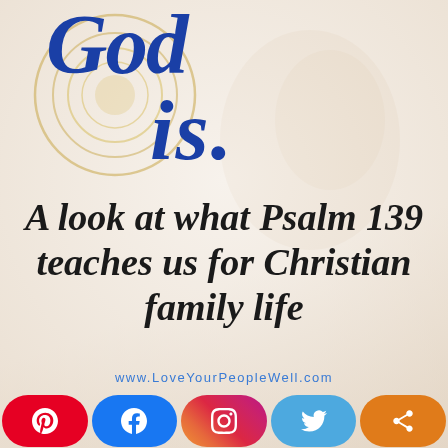[Figure (illustration): Book cover or graphic with decorative gold concentric circles and a faint world map silhouette in the background. Large blue italic text reading 'God is.' in stylized font.]
A look at what Psalm 139 teaches us for Christian family life
www.LoveYourPeopleWell.com
[Figure (infographic): Social sharing bar with five buttons: Pinterest (red), Facebook (blue), Instagram (gradient), Twitter (blue), Share (orange).]